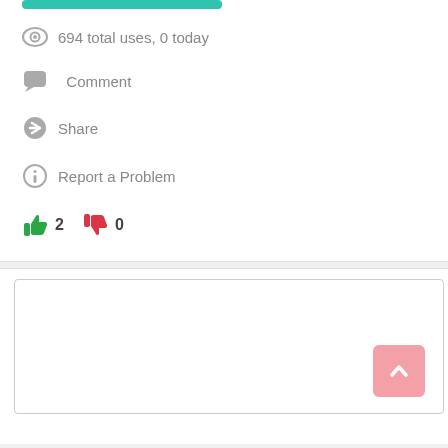[Figure (other): Teal/green progress bar at top]
694 total uses, 0 today
Comment
Share
Report a Problem
2  0
[Figure (screenshot): Comment input box with pink scroll-to-top button]